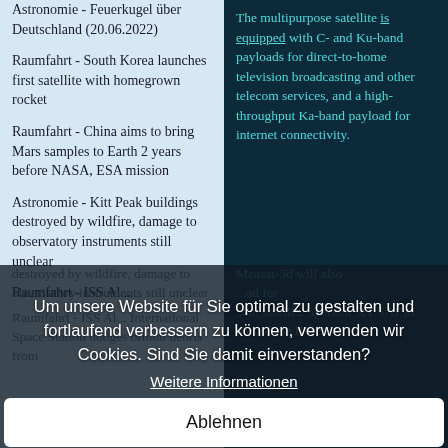Astronomie - Feuerkugel über Deutschland (20.06.2022)
Raumfahrt - South Korea launches first satellite with homegrown rocket
Raumfahrt - China aims to bring Mars samples to Earth 2 years before NASA, ESA mission
Astronomie - Kitt Peak buildings destroyed by wildfire, damage to observatory instruments still unclear
Raumfahrt - ISS dodges orbital debris from International Space Station dodges orbital debris from
The multipurpose satellite is equipped with C- and Ku-band payloads for direct-to-home television broadcasting and other telecom services, and a high-throughput Ka-band payload for internet connectivity.
Measat-3d will also ... ad for ... an satellite operator KT SAT as part of the Korea
Um unsere Website für Sie optimal zu gestalten und fortlaufend verbessern zu können, verwenden wir Cookies. Sind Sie damit einverstanden?
Weitere Informationen
Ablehnen
Ja, ich bin einverstanden
gun for native lunar water.
GSAI-24 is a Ku-band